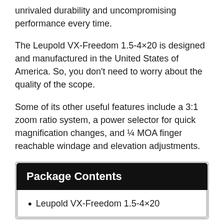unrivaled durability and uncompromising performance every time.
The Leupold VX-Freedom 1.5-4×20 is designed and manufactured in the United States of America. So, you don't need to worry about the quality of the scope.
Some of its other useful features include a 3:1 zoom ratio system, a power selector for quick magnification changes, and ¼ MOA finger reachable windage and elevation adjustments.
Package Contents
Leupold VX-Freedom 1.5-4×20